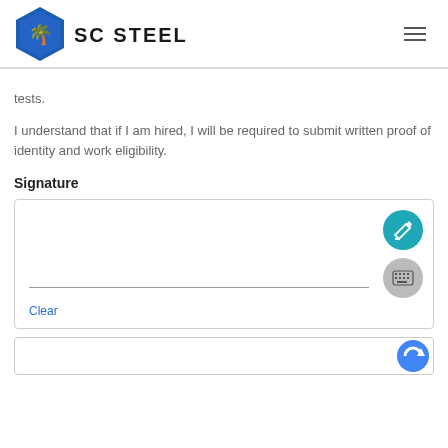SC STEEL
tests.
I understand that if I am hired, I will be required to submit written proof of identity and work eligibility.
Signature
[Figure (infographic): Signature input box with a teal pencil/edit button, a gray keyboard button, a horizontal signature line, and a blue 'Clear' link.]
[Figure (other): Partial reCAPTCHA widget visible at the bottom of the page.]